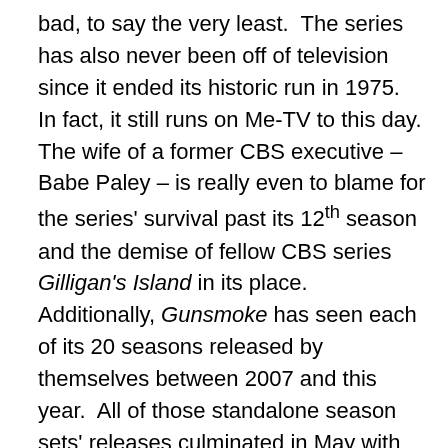bad, to say the very least. The series has also never been off of television since it ended its historic run in 1975. In fact, it still runs on Me-TV to this day. The wife of a former CBS executive – Babe Paley – is really even to blame for the series' survival past its 12th season and the demise of fellow CBS series Gilligan's Island in its place. Additionally, Gunsmoke has seen each of its 20 seasons released by themselves between 2007 and this year. All of those standalone season sets' releases culminated in May with what is seemingly its first-ever full-series set courtesy of CBS DVD and Paramount in the new 65th Anniversary edition box set. Spread across a total of 143 discs, this extensive box set will appeal mainly to the most devoted of the series' fans. That is due in pat to the presentation of the set's episodes. This will be addressed shortly. While the presentation of the set's episodes